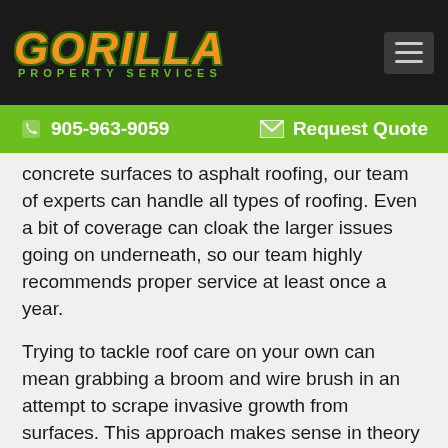GORILLA PROPERTY SERVICES
905-963-9059   Request Quote
concrete surfaces to asphalt roofing, our team of experts can handle all types of roofing. Even a bit of coverage can cloak the larger issues going on underneath, so our team highly recommends proper service at least once a year.
Trying to tackle roof care on your own can mean grabbing a broom and wire brush in an attempt to scrape invasive growth from surfaces. This approach makes sense in theory but it can do more harm than good. If materials are softened or rotten, the wrong approach can scrape away protective coatings and even create holes that are entry points for water and pests.
The Gorilla Technique